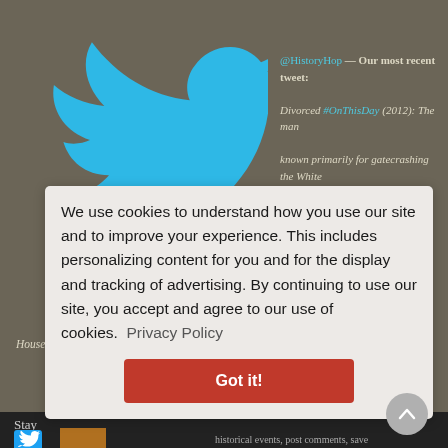[Figure (screenshot): Twitter bird logo in cyan/blue color on dark olive-brown background, positioned in upper left area of the page]
@HistoryHop — Our most recent tweet: Divorced #OnThisDay (2012): The man known primarily for gatecrashing the White House, Tareq S... #TDIH @HistoryHop— about 15 hours ago
We use cookies to understand how you use our site and to improve your experience. This includes personalizing content for you and for the display and tracking of advertising. By continuing to use our site, you accept and agree to our use of cookies.  Privacy Policy
Got it!
Stay
Abou
historical events, post comments, save